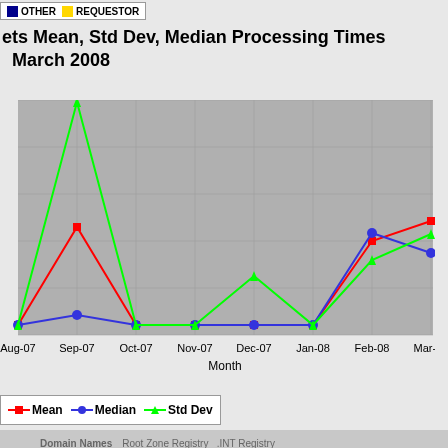[Figure (line-chart): ets Mean, Std Dev, Median Processing Times March 2008]
Domain Names   Root Zone Registry  .INT Registry  .ARPA Registry  IDN Repository